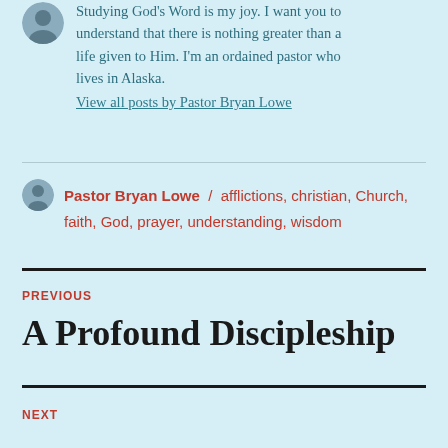Studying God's Word is my joy. I want you to understand that there is nothing greater than a life given to Him. I'm an ordained pastor who lives in Alaska.
View all posts by Pastor Bryan Lowe
Pastor Bryan Lowe / afflictions, christian, Church, faith, God, prayer, understanding, wisdom
PREVIOUS
A Profound Discipleship
NEXT